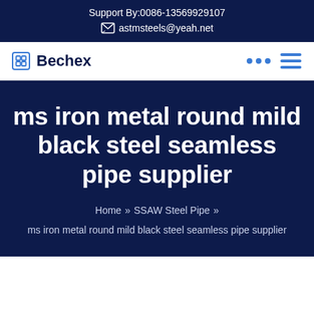Support By:0086-13569929107
astmsteels@yeah.net
Bechex
ms iron metal round mild black steel seamless pipe supplier
Home » SSAW Steel Pipe » ms iron metal round mild black steel seamless pipe supplier